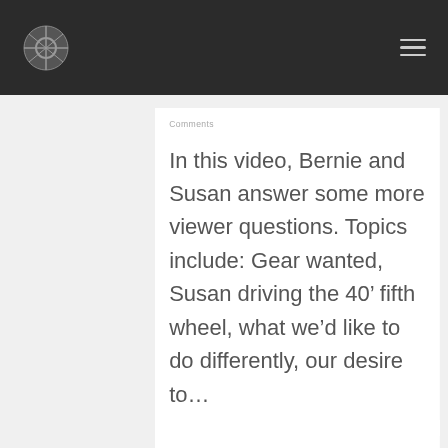Comments
In this video, Bernie and Susan answer some more viewer questions. Topics include: Gear wanted, Susan driving the 40’ fifth wheel, what we’d like to do differently, our desire to…
Read More
February 21, 2022
0